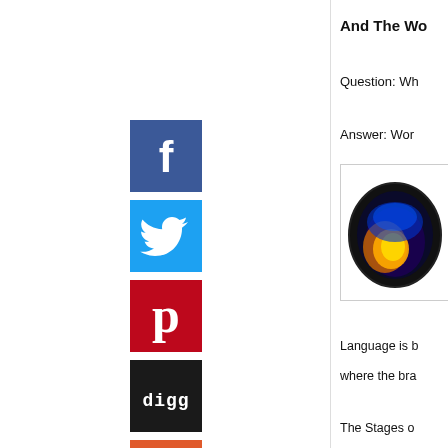[Figure (logo): Facebook share button - dark blue square with white F logo]
[Figure (logo): Twitter share button - light blue square with white bird logo]
[Figure (logo): Pinterest share button - red square with white P logo]
[Figure (logo): Digg share button - black square with white digg text logo]
[Figure (logo): Add/more share button - orange-red square with white plus sign]
And The Wo
Question: Wh
Answer: Wor
[Figure (photo): Brain scan image - colorful MRI/PET scan of a human brain on black background, showing warm yellow/orange colors]
Language is b
where the bra
The Stages o